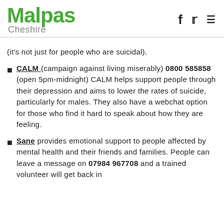Malpas Cheshire
(it's not just for people who are suicidal).
CALM (campaign against living miserably) 0800 585858 (open 5pm-midnight) CALM helps support people through their depression and aims to lower the rates of suicide, particularly for males. They also have a webchat option for those who find it hard to speak about how they are feeling.
Sane provides emotional support to people affected by mental health and their friends and families. People can leave a message on 07984 967708 and a trained volunteer will get back in